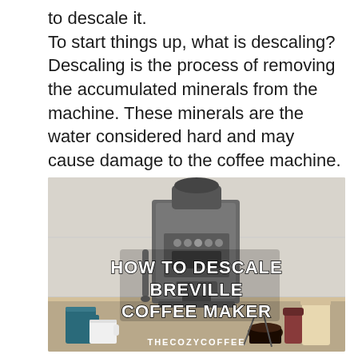to descale it. To start things up, what is descaling? Descaling is the process of removing the accumulated minerals from the machine. These minerals are the water considered hard and may cause damage to the coffee machine.
[Figure (photo): Photo of a Breville espresso coffee machine on a kitchen counter, with overlaid text reading 'HOW TO DESCALE BREVILLE COFFEE MAKER' and the watermark 'THECOZYCOFFEE' at the bottom.]